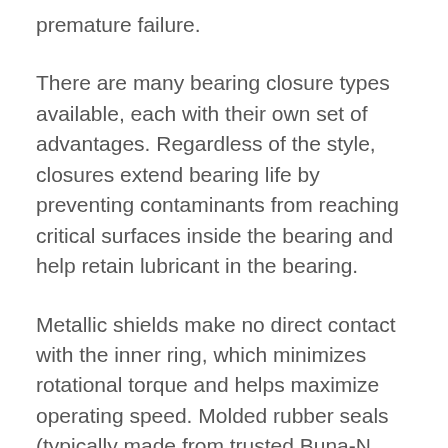premature failure.
There are many bearing closure types available, each with their own set of advantages. Regardless of the style, closures extend bearing life by preventing contaminants from reaching critical surfaces inside the bearing and help retain lubricant in the bearing.
Metallic shields make no direct contact with the inner ring, which minimizes rotational torque and helps maximize operating speed. Molded rubber seals (typically made from trusted Buna-N material) make contact with the inner ring, which provides better protection in more contaminated environments compared to metal shields, but would also increase startup and running torque due to seal